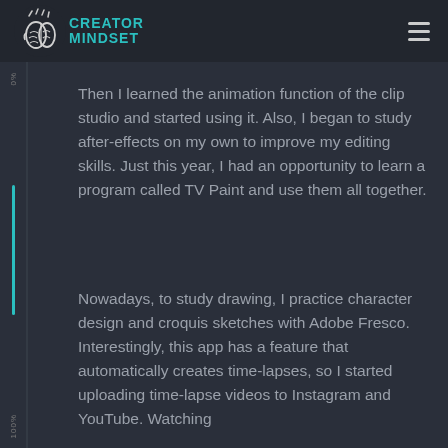[Figure (logo): Creator Mindset logo with brain icon and teal text]
Then I learned the animation function of the clip studio and started using it. Also, I began to study after-effects on my own to improve my editing skills. Just this year, I had an opportunity to learn a program called TV Paint and use them all together.
Nowadays, to study drawing, I practice character design and croquis sketches with Adobe Fresco. Interestingly, this app has a feature that automatically creates time-lapses, so I started uploading time-lapse videos to Instagram and YouTube. Watching